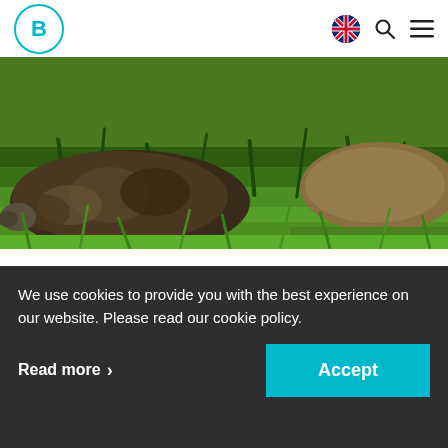B (logo with circle) | UK flag | search | menu
[Figure (photo): Close-up photograph of a giant Galapagos tortoise shell and head partially visible among lush green grass]
The transfixing power of the unique wildlife here, like the giant Galapagos tortoise, is awe inspiring
We use cookies to provide you with the best experience on our website. Please read our cookie policy.
Read more > Accept